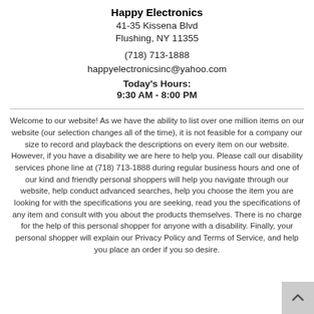Happy Electronics
41-35 Kissena Blvd
Flushing, NY 11355
(718) 713-1888
happyelectronicsinc@yahoo.com
Today's Hours:
9:30 AM - 8:00 PM
Welcome to our website! As we have the ability to list over one million items on our website (our selection changes all of the time), it is not feasible for a company our size to record and playback the descriptions on every item on our website. However, if you have a disability we are here to help you. Please call our disability services phone line at (718) 713-1888 during regular business hours and one of our kind and friendly personal shoppers will help you navigate through our website, help conduct advanced searches, help you choose the item you are looking for with the specifications you are seeking, read you the specifications of any item and consult with you about the products themselves. There is no charge for the help of this personal shopper for anyone with a disability. Finally, your personal shopper will explain our Privacy Policy and Terms of Service, and help you place an order if you so desire.